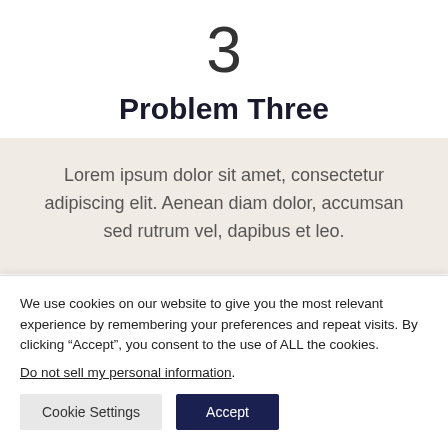3
Problem Three
Lorem ipsum dolor sit amet, consectetur adipiscing elit. Aenean diam dolor, accumsan sed rutrum vel, dapibus et leo.
We use cookies on our website to give you the most relevant experience by remembering your preferences and repeat visits. By clicking “Accept”, you consent to the use of ALL the cookies.
Do not sell my personal information.